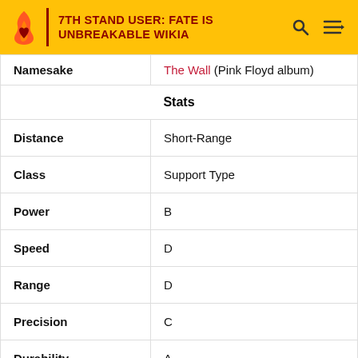7TH STAND USER: FATE IS UNBREAKABLE WIKIA
| Namesake | The Wall (Pink Floyd album) |
| Stats |  |
| Distance | Short-Range |
| Class | Support Type |
| Power | B |
| Speed | D |
| Range | D |
| Precision | C |
| Durability | A |
| Potential | C |